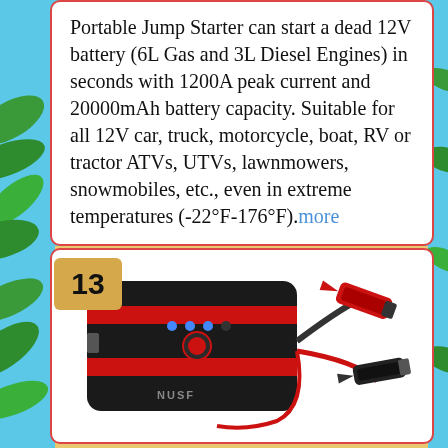Portable Jump Starter can start a dead 12V battery (6L Gas and 3L Diesel Engines) in seconds with 1200A peak current and 20000mAh battery capacity. Suitable for all 12V car, truck, motorcycle, boat, RV or tractor ATVs, UTVs, lawnmowers, snowmobiles, etc., even in extreme temperatures (-22°F-176°F).more
[Figure (photo): Product image of a portable jump starter device (black and red) with jumper cable clamps attached, brand NUSF visible on front panel, with LED indicator lights and a power button.]